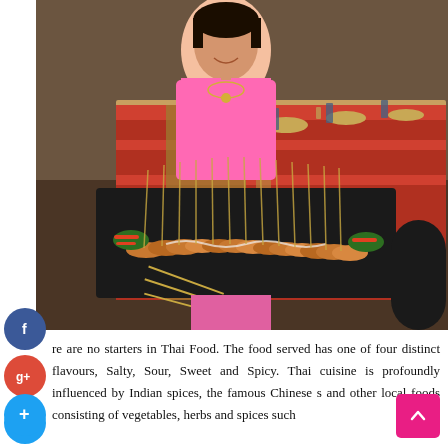[Figure (photo): A woman in a pink traditional Thai dress and jewelry smiling, holding a large black platter of satay skewers garnished with vegetables. Behind her is a decoratively set long dining table with colorful linens, plates, glassware and candles.]
re are no starters in Thai Food. The food served has one of four distinct flavours, Salty, Sour, Sweet and Spicy. Thai cuisine is profoundly influenced by Indian spices, the famous Chinese [...]s and other local foods consisting of vegetables, herbs and spices such